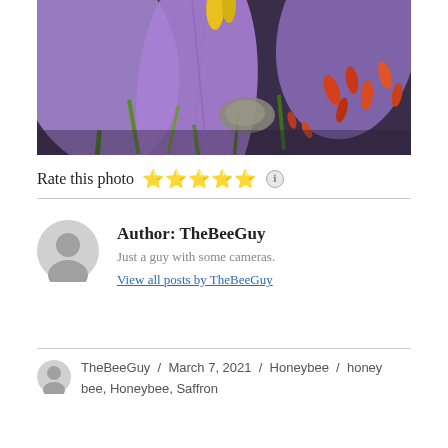[Figure (photo): Close-up macro photo of purple crocus flowers with yellow stamen and red/orange plant details in background]
Rate this photo ★★★★★ ℹ
Author: TheBeeGuy
Just a guy with some cameras.
View all posts by TheBeeGuy
TheBeeGuy / March 7, 2021 / Honeybee / honey bee, Honeybee, Saffron